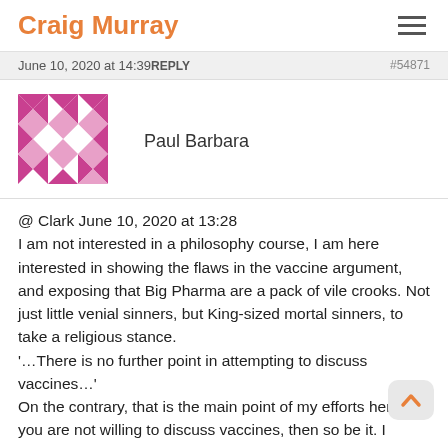Craig Murray
June 10, 2020 at 14:39 REPLY  #54871
Paul Barbara
@ Clark June 10, 2020 at 13:28
I am not interested in a philosophy course, I am here interested in showing the flaws in the vaccine argument, and exposing that Big Pharma are a pack of vile crooks. Not just little venial sinners, but King-sized mortal sinners, to take a religious stance.
'…There is no further point in attempting to discuss vaccines…'
On the contrary, that is the main point of my efforts here. If you are not willing to discuss vaccines, then so be it. I certainly am not interested in following someone else's ideas about how I should think. You believe vaccines are good; I am extremely skeptical and know that they can, at least on occasion, be extremely bad.
I post examples, that I hope are food for thought. You try to tell